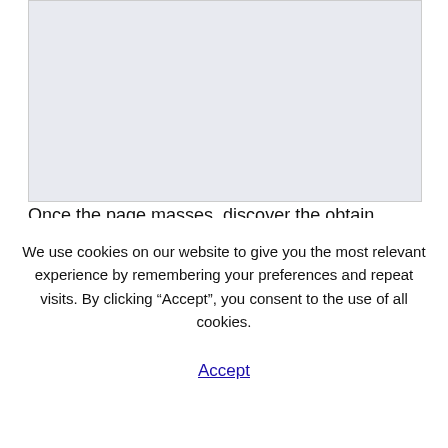[Figure (other): Gray placeholder image area at top of page]
Once the page masses, discover the obtain
We use cookies on our website to give you the most relevant experience by remembering your preferences and repeat visits. By clicking “Accept”, you consent to the use of all cookies.
Accept
Atmosphere (JRE) – you should use our command line instructions under. Players discover the terrain in this recreation and can use the blocks and other assets